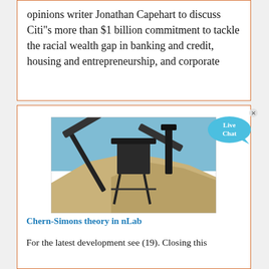opinions writer Jonathan Capehart to discuss Citi"s more than $1 billion commitment to tackle the racial wealth gap in banking and credit, housing and entrepreneurship, and corporate
[Figure (photo): Industrial mining conveyor belt machinery on a gravel/sand site with blue sky background]
Chern-Simons theory in nLab
For the latest development see (19). Closing this